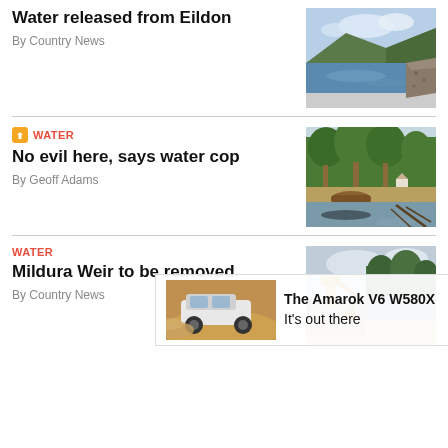Water released from Eildon
By Country News
[Figure (photo): Aerial view of Lake Eildon dam with water, rocky embankment, and green hills under a cloudy sky]
WATER
No evil here, says water cop
By Geoff Adams
[Figure (photo): River scene with large gum trees along the bank, green foliage, and water in the foreground]
WATER
Mildura Weir to be removed
By Country News
[Figure (photo): Construction machinery working at Mildura Weir removal site, water and trees in background]
[Figure (photo): Advertisement: The Amarok V6 W580X – It's out there, showing vehicle in dusty outback scene]